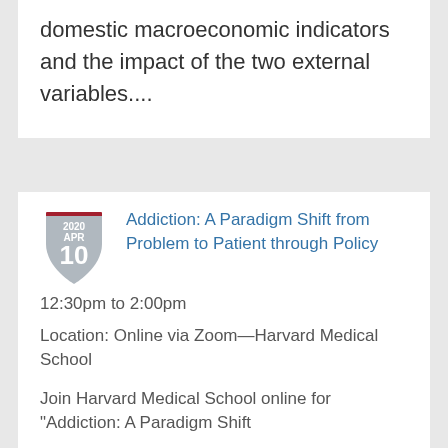domestic macroeconomic indicators and the impact of the two external variables....
Addiction: A Paradigm Shift from Problem to Patient through Policy
12:30pm to 2:00pm
Location: Online via Zoom—Harvard Medical School
Join Harvard Medical School online for "Addiction: A Paradigm Shift